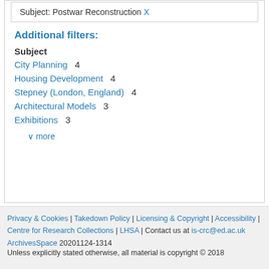Subject: Postwar Reconstruction X
Additional filters:
Subject
City Planning  4
Housing Development  4
Stepney (London, England)  4
Architectural Models  3
Exhibitions  3
∨ more
Privacy & Cookies | Takedown Policy | Licensing & Copyright | Accessibility | Centre for Research Collections | LHSA | Contact us at is-crc@ed.ac.uk
ArchivesSpace 20201124-1314
Unless explicitly stated otherwise, all material is copyright © 2018